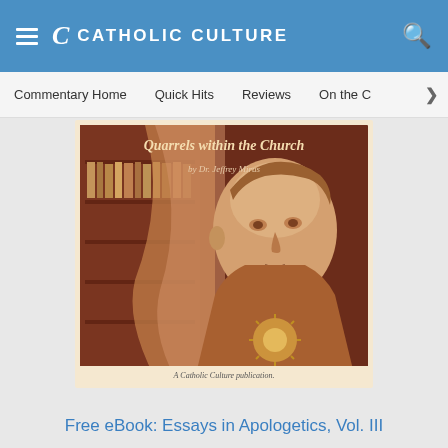CATHOLIC CULTURE
Commentary Home   Quick Hits   Reviews   On the C  >
[Figure (illustration): Book cover for 'Essays in Apologetics Vol. III: Quarrels within the Church by Dr. Jeffrey Mirus' — a Catholic Culture publication. Features a sepia-toned image of a saint or scholar, with ornate religious vestments including a sunburst emblem on the chest. Dark reddish-brown background with bookshelves visible.]
Free eBook: Essays in Apologetics, Vol. III